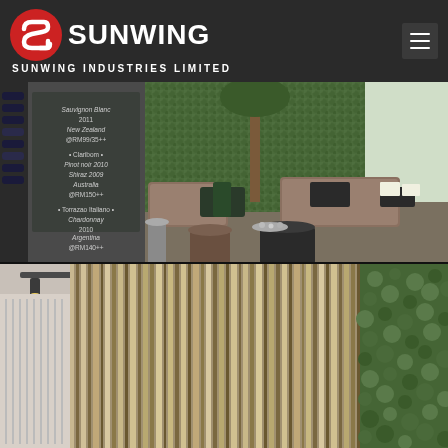[Figure (logo): Sunwing Industries Limited logo — red circular S emblem on left, white bold SUNWING text, white smaller SUNWING INDUSTRIES LIMITED subtitle below]
[Figure (photo): Interior photo of a modern restaurant/lounge with brown upholstered booth seating, black tables, a large indoor tree with green moss/plant wall in background, chalkboard wine menu on left wall, natural light from windows on right]
[Figure (photo): Interior architectural photo showing a room with vertical wood slat wall paneling (striped wood pattern), ceiling track lighting, white venetian blinds on left, and green living plant wall on right]